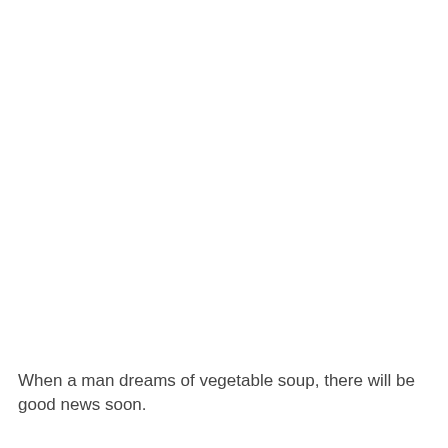When a man dreams of vegetable soup, there will be good news soon.